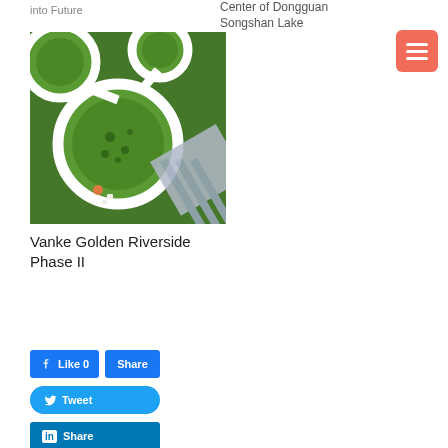into Future
Center of Dongguan Songshan Lake
[Figure (photo): Aerial top-down view of circular green landscaped areas with white ring paths and striped walkway, lush green bushes visible from above.]
Vanke Golden Riverside Phase II
Like 0  Share  Tweet  Share (LinkedIn)